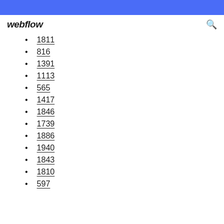webflow
1811
816
1391
1113
565
1417
1846
1739
1886
1940
1843
1810
597